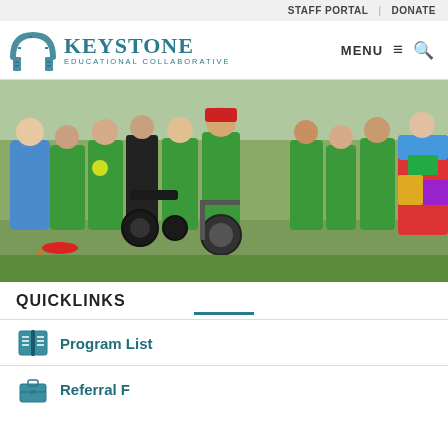STAFF PORTAL | DONATE
[Figure (logo): Keystone Educational Collaborative logo with arch icon]
[Figure (photo): Group of students and adults outdoors at a sporting event, several in green shirts, some in wheelchairs]
QUICKLINKS
Program List
Referral Form (partial)